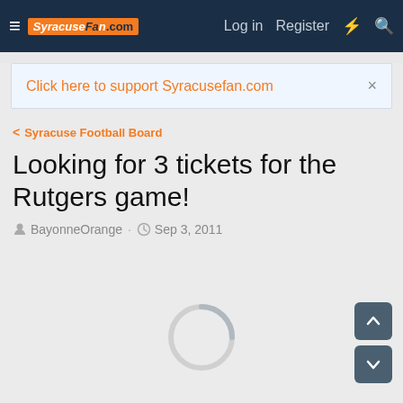≡  SyracuseFan.com   Log in   Register  ⚡  🔍
Click here to support Syracusefan.com  ×
< Syracuse Football Board
Looking for 3 tickets for the Rutgers game!
BayonneOrange · Sep 3, 2011